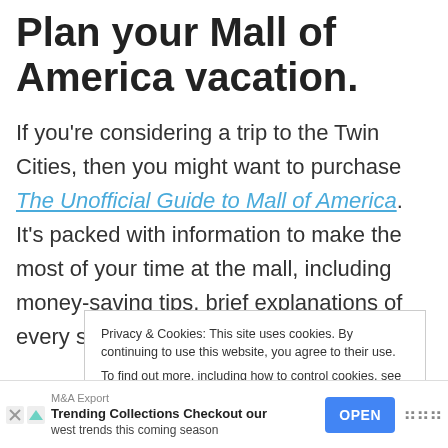Plan your Mall of America vacation.
If you're considering a trip to the Twin Cities, then you might want to purchase The Unofficial Guide to Mall of America. It's packed with information to make the most of your time at the mall, including money-saving tips, brief explanations of every store, and reviews of h...
Privacy & Cookies: This site uses cookies. By continuing to use this website, you agree to their use.
To find out more, including how to control cookies, see here:
Cookie Policy
[Figure (screenshot): Ad banner at bottom: M&A Export — Trending Collections Checkout our lowest trends this coming season, with OPEN button]